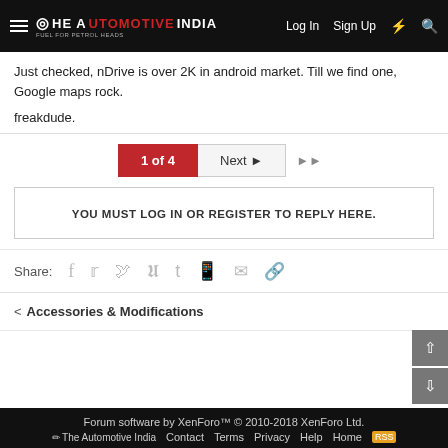The Automotive India — Log In  Sign Up
Just checked, nDrive is over 2K in android market. Till we find one, Google maps rock.
freakdude.
1 of 4  Next ▶  ▶▶
YOU MUST LOG IN OR REGISTER TO REPLY HERE.
Share: (social icons)
< Accessories & Modifications
Forum software by XenForo™ © 2010-2018 XenForo Ltd. | The Automotive India | Contact | Terms | Privacy | Help | Home